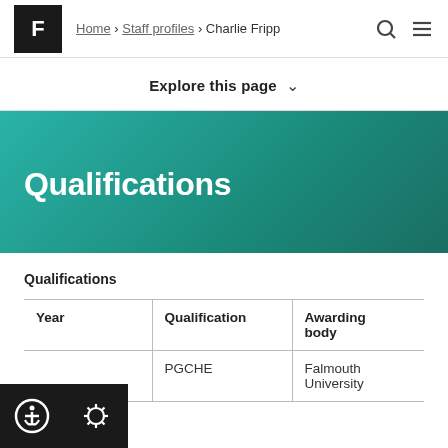Home > Staff profiles > Charlie Fripp
Explore this page ∨
Qualifications
Qualifications
| Year | Qualification | Awarding body |
| --- | --- | --- |
|  | PGCHE | Falmouth University |